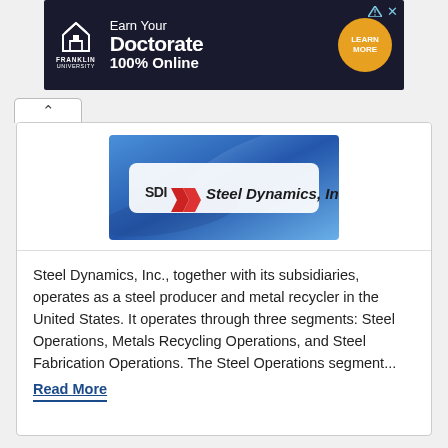[Figure (illustration): Franklin University advertisement banner: Earn Your Doctorate 100% Online with Learn More button]
[Figure (logo): Steel Dynamics, Inc. company logo with SDI chevron arrows on blue background]
Steel Dynamics, Inc., together with its subsidiaries, operates as a steel producer and metal recycler in the United States. It operates through three segments: Steel Operations, Metals Recycling Operations, and Steel Fabrication Operations. The Steel Operations segment... Read More